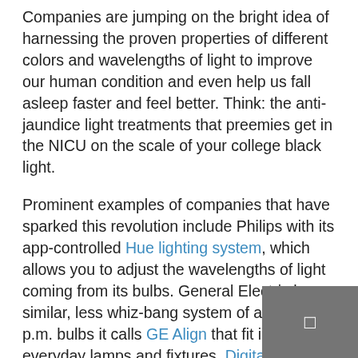Companies are jumping on the bright idea of harnessing the proven properties of different colors and wavelengths of light to improve our human condition and even help us fall asleep faster and feel better. Think: the anti-jaundice light treatments that preemies get in the NICU on the scale of your college black light.

Prominent examples of companies that have sparked this revolution include Philips with its app-controlled Hue lighting system, which allows you to adjust the wavelengths of light coming from its bulbs. General Electric has a similar, less whiz-bang system of a.m. and p.m. bulbs it calls GE Align that fit into your everyday lamps and fixtures. Digital Lumens takes this LED concept into the workplace, supermarket, and other industrial settings, while LumiFi's system-based app helps you adjust lighting in participating hotels via